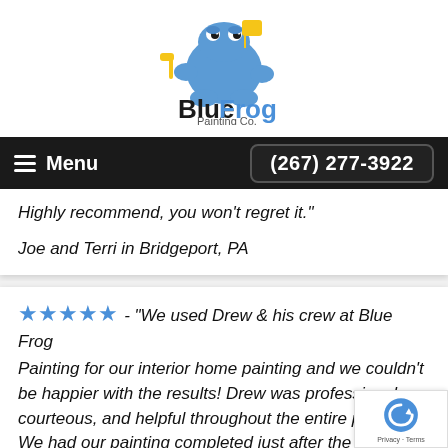[Figure (logo): Blue Frog Painting Co. logo with a blue cartoon frog holding a paint roller and a measuring tape]
Menu  (267) 277-3922
Highly recommend, you won't regret it."
Joe and Terri in Bridgeport, PA
★★★★★ - "We used Drew & his crew at Blue Frog Painting for our interior home painting and we couldn't be happier with the results! Drew was professional, courteous, and helpful throughout the entire process. We had our painting completed just after the construction restriction was lifted during the COVID-19